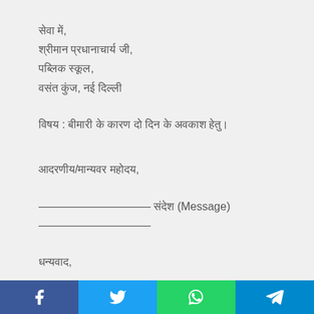सेवा में,
श्रीमान प्रधानाचार्य जी,
पब्लिक स्कूल,
वसंत कुंज, नई दिल्ली
विषय : बीमारी के कारण दो दिन के अवकाश हेतु।
आदरणीय/मान्यवर महोदय,
—————————— संदेश (Message)
——————————
धन्यवाद,
दिनांक : 24th फरवरी, 2019